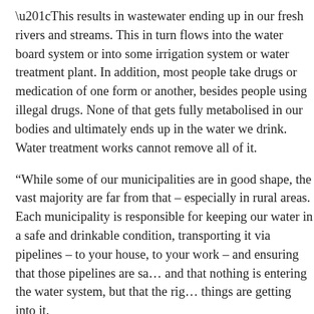“This results in wastewater ending up in our fresh rivers and streams. This in turn flows into the water board system or into some irrigation system or water treatment plant. In addition, most people take drugs or medication of one form or another, besides people using illegal drugs. None of that gets fully metabolised in our bodies and ultimately ends up in the water we drink. Water treatment works cannot remove all of it.
“While some of our municipalities are in good shape, the vast majority are far from that – especially in rural areas. Each municipality is responsible for keeping our water in a safe and drinkable condition, transporting it via pipelines – to your house, to your work – and ensuring that those pipelines are safe and that nothing is entering the water system, but that the right things are getting into it.
“Even in areas in upmarket suburbs of Johannesburg, IOPSA